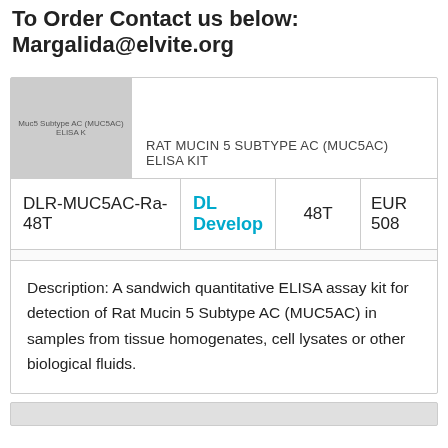To Order Contact us below: Margalida@elvite.org
| [image: Mucin 5 Subtype AC (MUC5AC) ELISA Kit] | RAT MUCIN 5 SUBTYPE AC (MUC5AC) ELISA KIT |
| DLR-MUC5AC-Ra-48T | DL Develop | 48T | EUR 508 |
| Description: A sandwich quantitative ELISA assay kit for detection of Rat Mucin 5 Subtype AC (MUC5AC) in samples from tissue homogenates, cell lysates or other biological fluids. |